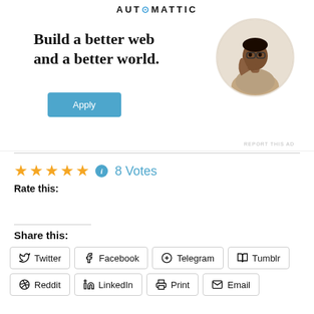[Figure (logo): Automattic logo text with blue circle dot]
[Figure (infographic): Advertisement banner: 'Build a better web and a better world.' with an Apply button and a circular photo of a man looking up thoughtfully]
REPORT THIS AD
★★★★★ ℹ 8 Votes
Rate this:
Share this:
Twitter
Facebook
Telegram
Tumblr
Reddit
LinkedIn
Print
Email